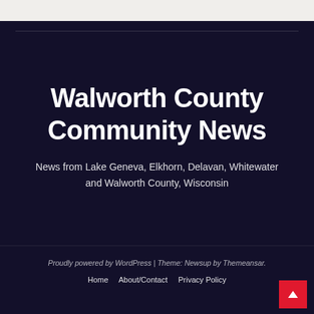Walworth County Community News
News from Lake Geneva, Elkhorn, Delavan, Whitewater and Walworth County, Wisconsin
Proudly powered by WordPress | Theme: Newsup by Themeansar.
Home   About/Contact   Privacy Policy